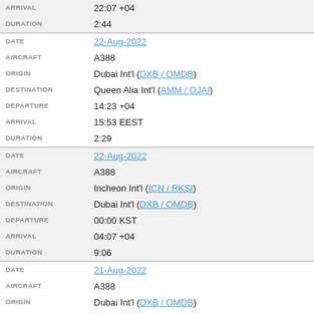| Field | Value |
| --- | --- |
| ARRIVAL | 22:07 +04 |
| DURATION | 2:44 |
| DATE | 22-Aug-2022 |
| AIRCRAFT | A388 |
| ORIGIN | Dubai Int'l (DXB / OMDB) |
| DESTINATION | Queen Alia Int'l (AMM / OJAI) |
| DEPARTURE | 14:23 +04 |
| ARRIVAL | 15:53 EEST |
| DURATION | 2:29 |
| DATE | 22-Aug-2022 |
| AIRCRAFT | A388 |
| ORIGIN | Incheon Int'l (ICN / RKSI) |
| DESTINATION | Dubai Int'l (DXB / OMDB) |
| DEPARTURE | 00:00 KST |
| ARRIVAL | 04:07 +04 |
| DURATION | 9:06 |
| DATE | 21-Aug-2022 |
| AIRCRAFT | A388 |
| ORIGIN | Dubai Int'l (DXB / OMDB) |
| DESTINATION | Incheon Int'l (ICN / RKSI) |